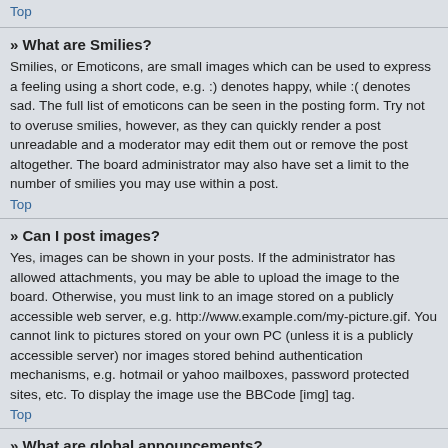Top
» What are Smilies?
Smilies, or Emoticons, are small images which can be used to express a feeling using a short code, e.g. :) denotes happy, while :( denotes sad. The full list of emoticons can be seen in the posting form. Try not to overuse smilies, however, as they can quickly render a post unreadable and a moderator may edit them out or remove the post altogether. The board administrator may also have set a limit to the number of smilies you may use within a post.
Top
» Can I post images?
Yes, images can be shown in your posts. If the administrator has allowed attachments, you may be able to upload the image to the board. Otherwise, you must link to an image stored on a publicly accessible web server, e.g. http://www.example.com/my-picture.gif. You cannot link to pictures stored on your own PC (unless it is a publicly accessible server) nor images stored behind authentication mechanisms, e.g. hotmail or yahoo mailboxes, password protected sites, etc. To display the image use the BBCode [img] tag.
Top
» What are global announcements?
Global announcements contain important information and you should read them whenever possible. They will appear at the top of